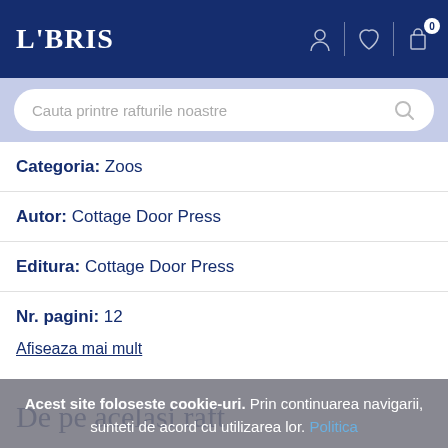LIBRIS
[Figure (screenshot): Search bar with placeholder text: Cauta printre rafturile noastre]
Categoria: Zoos
Autor: Cottage Door Press
Editura: Cottage Door Press
Nr. pagini: 12
Afiseaza mai mult
De pe acelasi raft
Acest site foloseste cookie-uri. Prin continuarea navigarii, sunteti de acord cu utilizarea lor. Politica